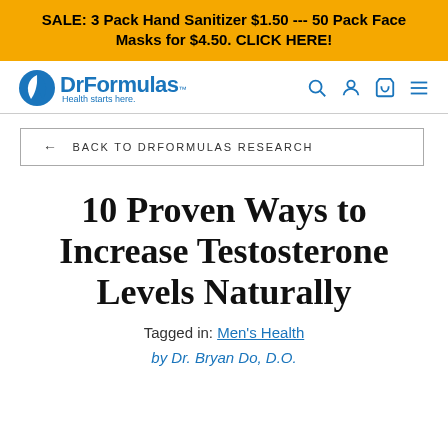SALE: 3 Pack Hand Sanitizer $1.50 --- 50 Pack Face Masks for $4.50. CLICK HERE!
[Figure (logo): DrFormulas logo with leaf icon and tagline 'Health starts here.']
← BACK TO DRFORMULAS RESEARCH
10 Proven Ways to Increase Testosterone Levels Naturally
Tagged in: Men's Health
by Dr. Bryan Do, D.O.